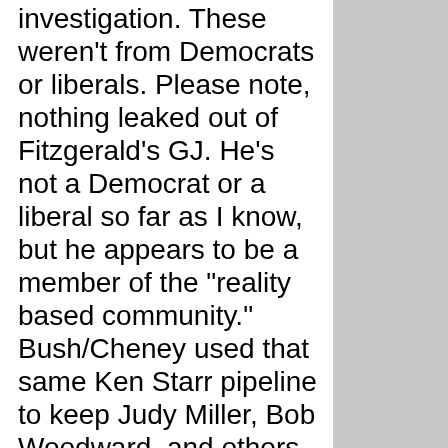investigation. These weren't from Democrats or liberals. Please note, nothing leaked out of Fitzgerald's GJ. He's not a Democrat or a liberal so far as I know, but he appears to be a member of the "reality based community." Bush/Cheney used that same Ken Starr pipeline to keep Judy Miller, Bob Woodward, and others seeded with classified information that resulted from